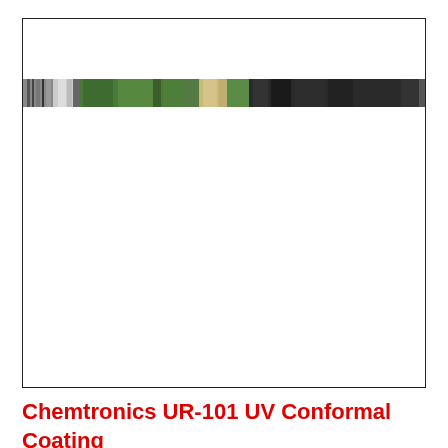[Figure (photo): A framed white box containing a narrow horizontal stripe of a color spectrum/coating sample image near the top. The stripe appears to show segments of green, grey, black, and other colors resembling a UV conformal coating spectral test strip.]
Chemtronics UR-101 UV Conformal Coating